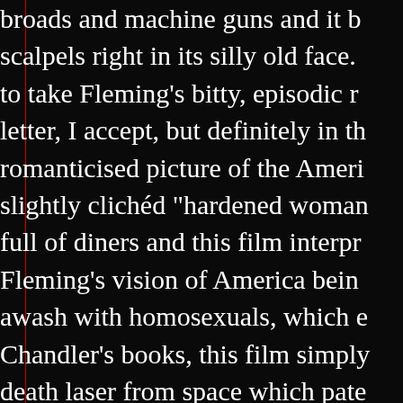broads and machine guns and it b scalpels right in its silly old face. to take Fleming's bitty, episodic r letter, I accept, but definitely in th romanticised picture of the Ameri slightly clichéd "hardened woman full of diners and this film interpr Fleming's vision of America bein awash with homosexuals, which e Chandler's books, this film simply death laser from space which pate in red pen as "A Bad One", but in they didn't have to stick slavishly and therefore, proclaiming that th isn't as daftly untrue a statement a faithful adaptation of Ian Fleming